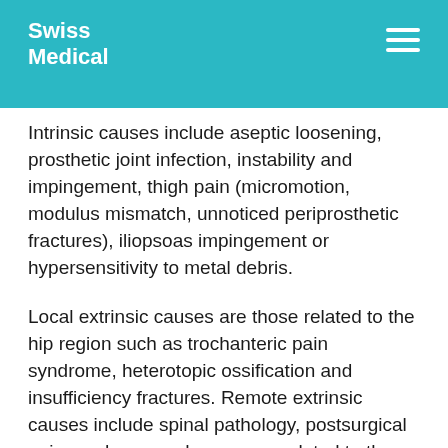Swiss Medical
Intrinsic causes include aseptic loosening, prosthetic joint infection, instability and impingement, thigh pain (micromotion, modulus mismatch, unnoticed periprosthetic fractures), iliopsoas impingement or hypersensitivity to metal debris.
Local extrinsic causes are those related to the hip region such as trochanteric pain syndrome, heterotopic ossification and insufficiency fractures. Remote extrinsic causes include spinal pathology, postsurgical pain syndrome and causes unrelated to the musculoskeletal system radiating to this area.
In our review we intend to give a comprehensive overview of the recent literature of the last 5 years giving practical information for interested general practitioners and specialists on all the orthopaedic